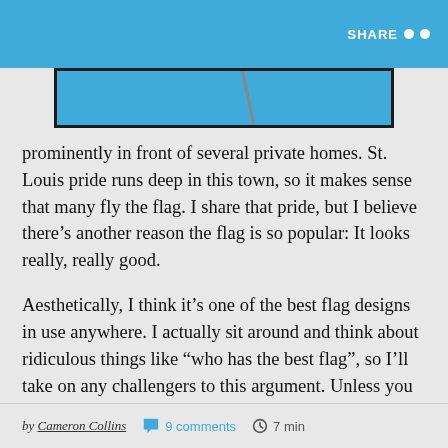SHARE
[Figure (illustration): Partial view of a flag image showing a blue sky background with a diagonal line, framed in a dark border]
prominently in front of several private homes. St. Louis pride runs deep in this town, so it makes sense that many fly the flag. I share that pride, but I believe there's another reason the flag is so popular: It looks really, really good.
Aesthetically, I think it's one of the best flag designs in use anywhere. I actually sit around and think about ridiculous things like “who has the best flag”, so I’ll take on any challengers to this argument. Unless you live in the United Kingdom or maybe Bhutan, I think the St. Louis flag is better than yours.
by Cameron Collins 💬 9 comments 🕰 7 min